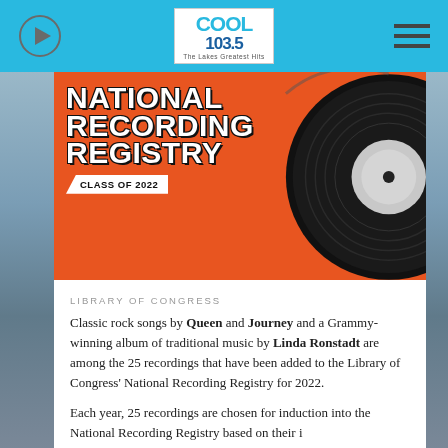Cool 103.5 — The Lakes Greatest Hits
[Figure (illustration): National Recording Registry Class of 2022 promotional image on orange background with bold white text and vinyl record on right side]
LIBRARY OF CONGRESS
Classic rock songs by Queen and Journey and a Grammy-winning album of traditional music by Linda Ronstadt are among the 25 recordings that have been added to the Library of Congress' National Recording Registry for 2022.
Each year, 25 recordings are chosen for induction into the National Recording Registry based on their...